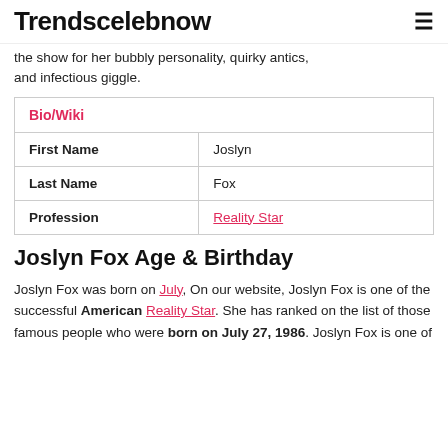Trendscelebnow
the show for her bubbly personality, quirky antics, and infectious giggle.
| Bio/Wiki |  |
| --- | --- |
| First Name | Joslyn |
| Last Name | Fox |
| Profession | Reality Star |
Joslyn Fox Age & Birthday
Joslyn Fox was born on July, On our website, Joslyn Fox is one of the successful American Reality Star. She has ranked on the list of those famous people who were born on July 27, 1986. Joslyn Fox is one of